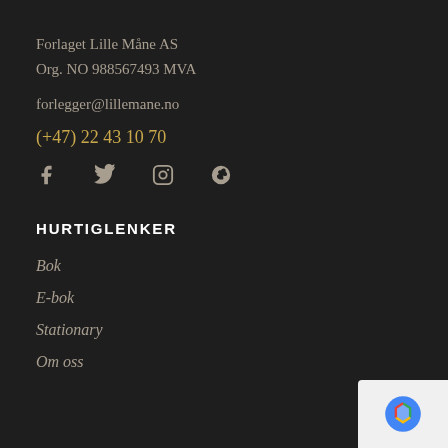Forlaget Lille Måne AS
Org. NO 988567493 MVA
forlegger@lillemane.no
(+47) 22 43 10 70
[Figure (infographic): Social media icons: Facebook, Twitter, Instagram, Skype]
HURTIGLENKER
Bok
E-bok
Stationary
Om oss